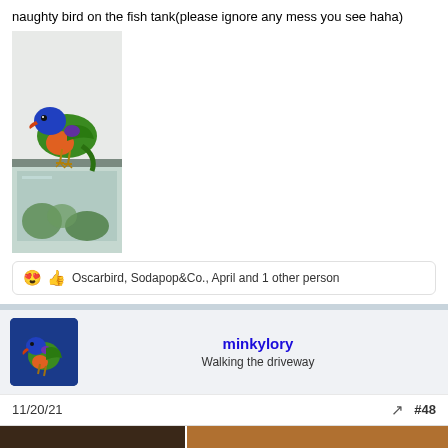naughty bird on the fish tank(please ignore any mess you see haha)
[Figure (photo): A rainbow lorikeet perched on top of a glass fish tank, viewed from above/side angle. The bird has blue head, orange/red chest, green wings. The fish tank below shows green plants/algae inside.]
😍👍 Oscarbird, Sodapop&Co., April and 1 other person
[Figure (photo): User avatar showing a rainbow lorikeet bird against a blue background]
minkylory
Walking the driveway
11/20/21
#48
[Figure (photo): Two partial thumbnail images at the bottom of the page — left shows a dark brown animal/bird, right shows an orange/tan surface]